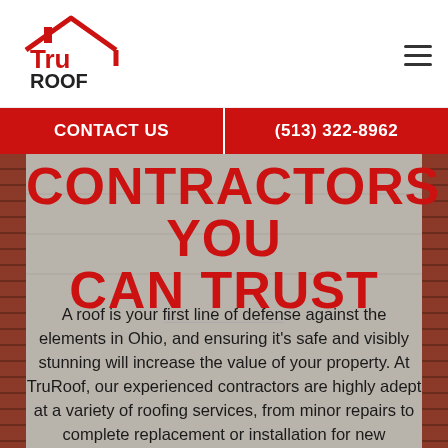[Figure (logo): TruRoof logo: red house outline with 'Tru' in red bold text and 'ROOF' in dark text below]
CONTACT US | (513) 322-8962
CONTRACTORS YOU CAN TRUST
A roof is your first line of defense against the elements in Ohio, and ensuring it's safe and visibly stunning will increase the value of your property. At TruRoof, our experienced contractors are highly adept at a variety of roofing services, from minor repairs to complete replacement or installation for new construction. We work with many different styles and materials so that you don't have to compromise. For the most comprehensive roofing services in